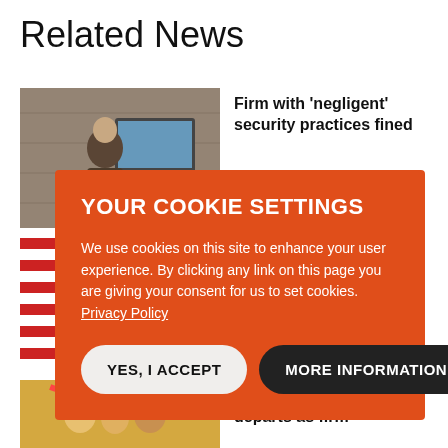Related News
[Figure (photo): Person sitting at a computer in a wood-paneled room]
Firm with 'negligent' security practices fined
[Figure (photo): Person in red shirt in front of American flag backdrop]
YOUR COOKIE SETTINGS

We use cookies on this site to enhance your user experience. By clicking any link on this page you are giving your consent for us to set cookies. Privacy Policy

YES, I ACCEPT   MORE INFORMATION
[Figure (photo): People celebrating with confetti]
EXCLUSIVE Ince boss departs as firm